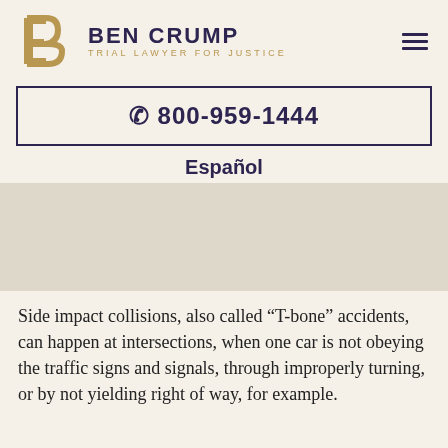BEN CRUMP — TRIAL LAWYER FOR JUSTICE
☎ 800-959-1444
Español
[Figure (photo): Image placeholder area for a car accident or related legal content photo]
Side impact collisions, also called “T-bone” accidents, can happen at intersections, when one car is not obeying the traffic signs and signals, through improperly turning, or by not yielding right of way, for example.